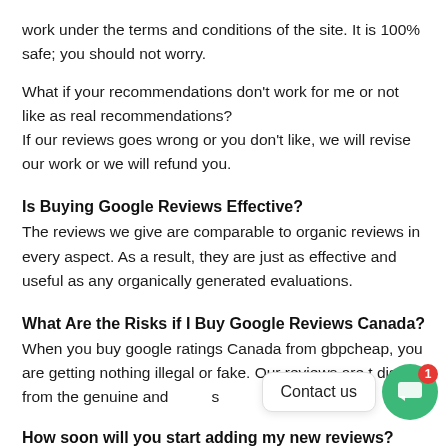work under the terms and conditions of the site. It is 100% safe; you should not worry.
What if your recommendations don't work for me or not like as real recommendations?
If our reviews goes wrong or you don't like, we will revise our work or we will refund you.
Is Buying Google Reviews Effective?
The reviews we give are comparable to organic reviews in every aspect. As a result, they are just as effective and useful as any organically generated evaluations.
What Are the Risks if I Buy Google Reviews Canada?
When you buy google ratings Canada from gbpcheap, you are getting nothing illegal or fake. Our reviews are distinct from the genuine and ...s
How soon will you start adding my new reviews?